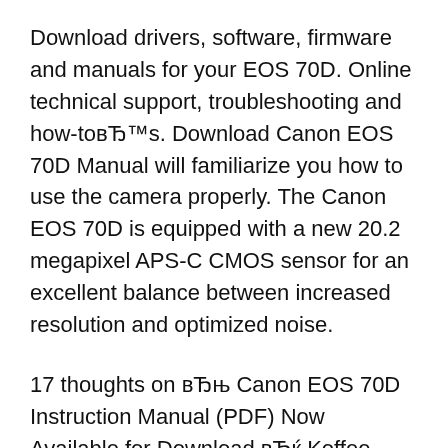Download drivers, software, firmware and manuals for your EOS 70D. Online technical support, troubleshooting and how-toвЂ™s. Download Canon EOS 70D Manual will familiarize you how to use the camera properly. The Canon EOS 70D is equipped with a new 20.2 megapixel APS-C CMOS sensor for an excellent balance between increased resolution and optimized noise.
17 thoughts on вЂњ Canon EOS 70D Instruction Manual (PDF) Now Available for Download вЂќ Koffee Kosmo September 11, 2013 at 1:52 PM. Denise , if you press the button where you select photo or video it activates the